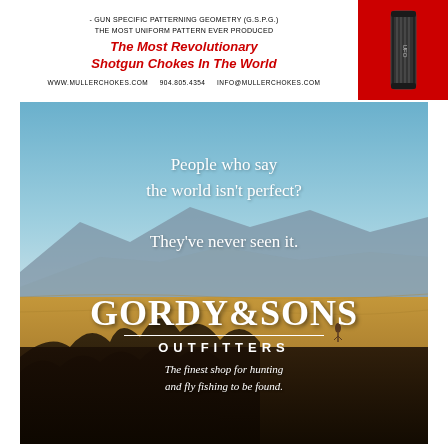[Figure (advertisement): Muller Chokes advertisement. Top section: black text 'GUN SPECIFIC PATTERNING GEOMETRY (G.S.P.G.) THE MOST UNIFORM PATTERN EVER PRODUCED', red italic bold headline 'The Most Revolutionary Shotgun Chokes In The World', contact info 'WWW.MULLERCHOKES.COM  904.805.4354  INFO@MULLERCHOKES.COM'. Red background box on right with choke tube product image.]
[Figure (advertisement): Gordy & Sons Outfitters advertisement. Outdoor landscape photo with sky, mountains, plains. White serif text: 'People who say the world isn't perfect? They've never seen it.' Logo: GORDY & SONS OUTFITTERS. Tagline: 'The finest shop for hunting and fly fishing to be found.']